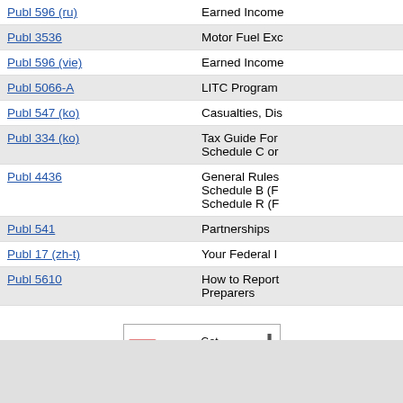| Publication | Description |
| --- | --- |
| Publ 596 (ru) | Earned Income... |
| Publ 3536 | Motor Fuel Exc... |
| Publ 596 (vie) | Earned Income... |
| Publ 5066-A | LITC Program... |
| Publ 547 (ko) | Casualties, Dis... |
| Publ 334 (ko) | Tax Guide For... Schedule C or... |
| Publ 4436 | General Rules... Schedule B (F... Schedule R (F... |
| Publ 541 | Partnerships |
| Publ 17 (zh-t) | Your Federal I... |
| Publ 5610 | How to Report... Preparers |
[Figure (logo): Get Adobe Reader button — red Adobe PDF icon with download arrow and 'Get ADOBE READER' text]
Get Adobe ® Reader